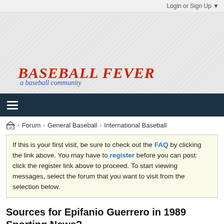Login or Sign Up ▼
[Figure (logo): Baseball Fever logo — red bold italic serif text 'BASEBALL FEVER' with blue italic cursive text 'a baseball community' below, on a light grey textured banner background]
≡
🏠 › Forum › General Baseball › International Baseball
If this is your first visit, be sure to check out the FAQ by clicking the link above. You may have to register before you can post: click the register link above to proceed. To start viewing messages, select the forum that you want to visit from the selection below.
Sources for Epifanio Guerrero in 1989 Sporting News?